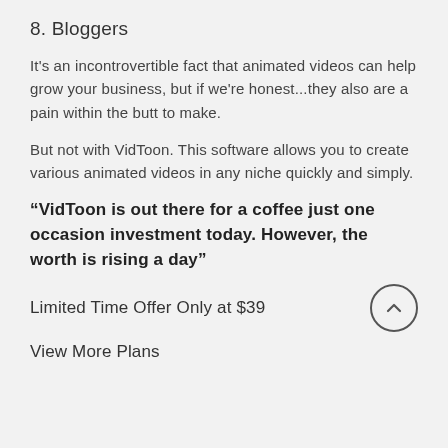8. Bloggers
It's an incontrovertible fact that animated videos can help grow your business, but if we're honest...they also are a pain within the butt to make.
But not with VidToon. This software allows you to create various animated videos in any niche quickly and simply.
“VidToon is out there for a coffee just one occasion investment today. However, the worth is rising a day”
Limited Time Offer Only at $39
View More Plans